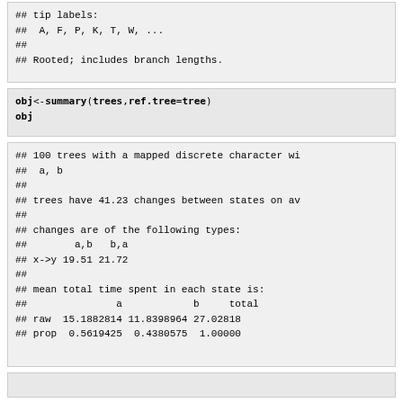## tip labels:
##  A, F, P, K, T, W, ...
##
## Rooted; includes branch lengths.
obj<-summary(trees,ref.tree=tree)
obj
## 100 trees with a mapped discrete character wi
##  a, b
##
## trees have 41.23 changes between states on av
##
## changes are of the following types:
##        a,b   b,a
## x->y 19.51 21.72
##
## mean total time spent in each state is:
##               a            b     total
## raw  15.1882814 11.8398964 27.02818
## prop  0.5619425  0.4380575  1.00000
placeholder bottom block